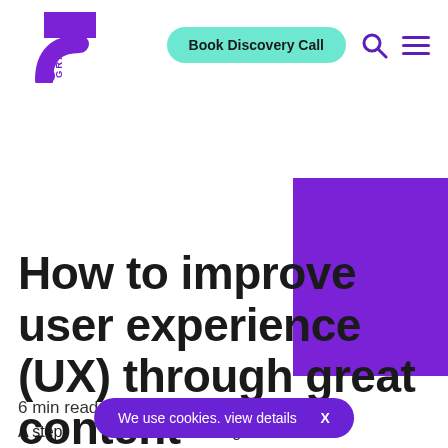GRANITE5 — Book Discovery Call navigation header
[Figure (logo): GRANITE5 logo with purple stylized wifi/signal arc icon and vertical 'GRANITE5' text]
How to improve user experience (UX) through great content
6 min read
A step [cookie banner overlaid] ating content with a focus on user experience.
We use cookies. view details  X